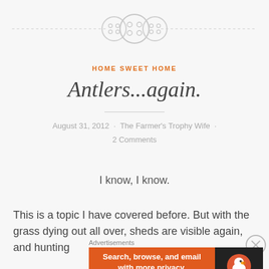[Figure (illustration): Decorative top divider with dashed horizontal line and three circular button/sewing icons in light gray]
HOME SWEET HOME
Antlers...again.
August 31, 2012 · The Farmer's Trophy Wife · 2 Comments
I know, I know.
This is a topic I have covered before. But with the grass dying out all over, sheds are visible again, and hunting
Advertisements
[Figure (screenshot): DuckDuckGo advertisement banner: orange background with text 'Search, browse, and email with more privacy. All in One Free App' and DuckDuckGo logo on dark right panel]